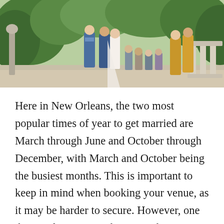[Figure (photo): Outdoor wedding ceremony in a garden setting. A bride in a white gown and groom in a navy suit stand at the altar with an officiant. Guests are seated in the background. Bridesmaids in mustard/yellow dresses stand to the right. Lush green foliage and stone balustrade visible.]
Here in New Orleans, the two most popular times of year to get married are March through June and October through December, with March and October being the busiest months. This is important to keep in mind when booking your venue, as it may be harder to secure. However, one thing is for certain: These months are so popular thanks to the beautiful weather. And no matter what your